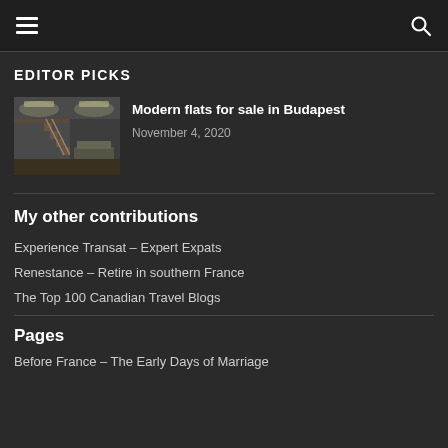[hamburger menu] [search icon]
EDITOR PICKS
[Figure (photo): Interior photo of a modern flat with a staircase, loft area, and minimal furniture]
Modern flats for sale in Budapest
November 4, 2020
My other contributions
Experience Transat – Expert Expats
Renestance – Retire in southern France
The Top 100 Canadian Travel Blogs
Pages
Before France – The Early Days of Marriage